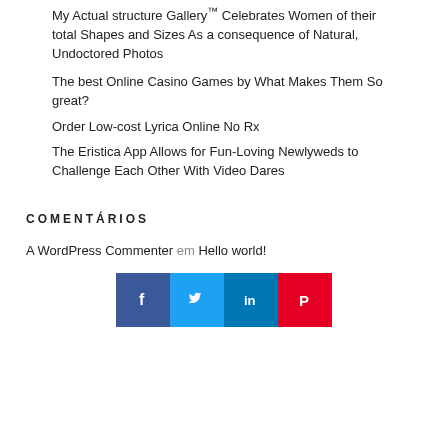My Actual structure Gallery™ Celebrates Women of their total Shapes and Sizes As a consequence of Natural, Undoctored Photos
The best Online Casino Games by What Makes Them So great?
Order Low-cost Lyrica Online No Rx
The Eristica App Allows for Fun-Loving Newlyweds to Challenge Each Other With Video Dares
COMENTÁRIOS
A WordPress Commenter em Hello world!
[Figure (other): Social sharing buttons: Facebook, Twitter, LinkedIn, Pinterest]